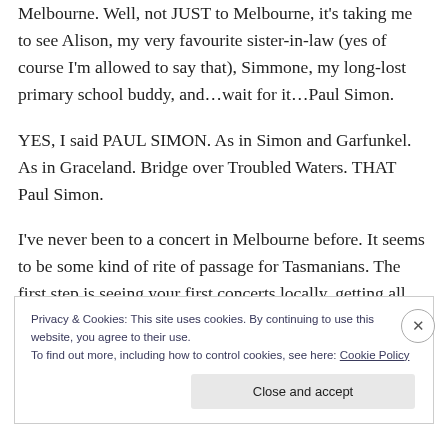Melbourne. Well, not JUST to Melbourne, it's taking me to see Alison, my very favourite sister-in-law (yes of course I'm allowed to say that), Simmone, my long-lost primary school buddy, and…wait for it…Paul Simon.
YES, I said PAUL SIMON. As in Simon and Garfunkel. As in Graceland. Bridge over Troubled Waters. THAT Paul Simon.
I've never been to a concert in Melbourne before. It seems to be some kind of rite of passage for Tasmanians. The first step is seeing your first concerts locally, getting all
Privacy & Cookies: This site uses cookies. By continuing to use this website, you agree to their use.
To find out more, including how to control cookies, see here: Cookie Policy
Close and accept